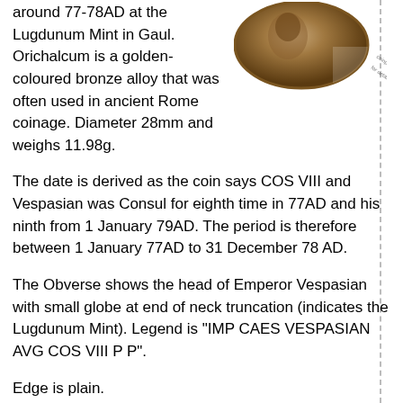around 77-78AD at the Lugdunum Mint in Gaul. Orichalcum is a golden-coloured bronze alloy that was often used in ancient Rome coinage. Diameter 28mm and weighs 11.98g.
[Figure (photo): Photograph of an ancient Roman bronze coin (orichalcum sestertius), showing the obverse with a portrait, partially cropped. A watermark reads 'coinparade.co.uk for details'.]
The date is derived as the coin says COS VIII and Vespasian was Consul for eighth time in 77AD and his ninth from 1 January 79AD. The period is therefore between 1 January 77AD to 31 December 78 AD.
The Obverse shows the head of Emperor Vespasian with small globe at end of neck truncation (indicates the Lugdunum Mint). Legend is "IMP CAES VESPASIAN AVG COS VIII P P".
Edge is plain.
The Reverse shows the Goddess Fortuna,